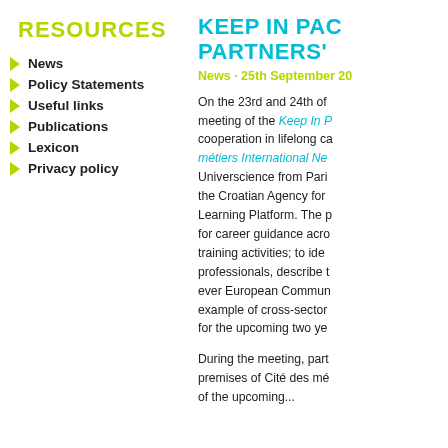RESOURCES
News
Policy Statements
Useful links
Publications
Lexicon
Privacy policy
KEEP IN PAC... PARTNERS'
News · 25th September 20...
On the 23rd and 24th of ... meeting of the Keep In P... cooperation in lifelong ca... métiers International Ne... Universcience from Pari... the Croatian Agency for ... Learning Platform. The p... for career guidance acro... training activities; to ide... professionals, describe t... ever European Commun... example of cross-sector... for the upcoming two ye...
During the meeting, part... premises of Cité des mé... of the upcoming...